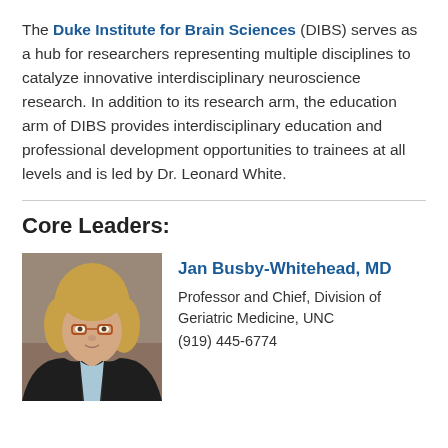The Duke Institute for Brain Sciences (DIBS) serves as a hub for researchers representing multiple disciplines to catalyze innovative interdisciplinary neuroscience research. In addition to its research arm, the education arm of DIBS provides interdisciplinary education and professional development opportunities to trainees at all levels and is led by Dr. Leonard White.
Core Leaders:
[Figure (photo): Headshot photo of Jan Busby-Whitehead, MD — a woman with blonde hair and glasses wearing a dark jacket]
Jan Busby-Whitehead, MD
Professor and Chief, Division of Geriatric Medicine, UNC
(919) 445-6774